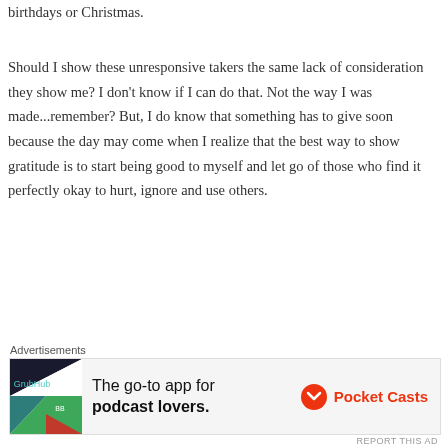birthdays or Christmas.
Should I show these unresponsive takers the same lack of consideration they show me? I don't know if I can do that. Not the way I was made...remember? But, I do know that something has to give soon because the day may come when I realize that the best way to show gratitude is to start being good to myself and let go of those who find it perfectly okay to hurt, ignore and use others.
I'm not there yet. I still want to continue trying but in the meantime, I will cultivate and feel gratitude for the growing relationship I do have with one, singular sibling. I have not always been fair to her over the years
Advertisements
[Figure (other): Advertisement banner for Pocket Casts app - 'The go-to app for podcast lovers.' with Pocket Casts logo]